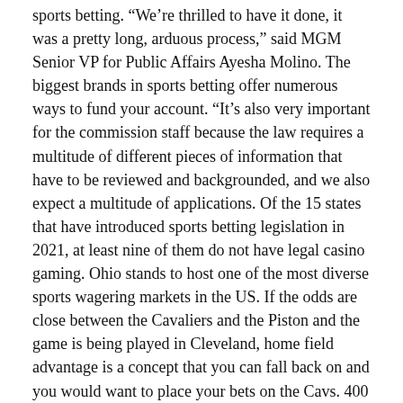sports betting. “We’re thrilled to have it done, it was a pretty long, arduous process,” said MGM Senior VP for Public Affairs Ayesha Molino. The biggest brands in sports betting offer numerous ways to fund your account. “It’s also very important for the commission staff because the law requires a multitude of different pieces of information that have to be reviewed and backgrounded, and we also expect a multitude of applications. Of the 15 states that have introduced sports betting legislation in 2021, at least nine of them do not have legal casino gaming. Ohio stands to host one of the most diverse sports wagering markets in the US. If the odds are close between the Cavaliers and the Piston and the game is being played in Cleveland, home field advantage is a concept that you can fall back on and you would want to place your bets on the Cavs. 400 vatios de potencia y soportes laterales. For more information,.
Matthew Kredell
Withdrawing before requirements are met forfeits bonus money and any winnings from the bonus money. You must click the activation link in order to complete your subscription. The half size and combining options should be eliciting only